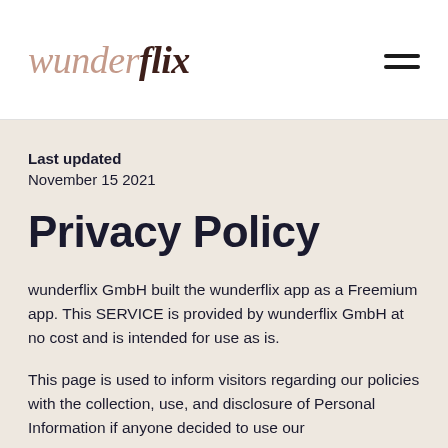wunderflix
Last updated
November 15 2021
Privacy Policy
wunderflix GmbH built the wunderflix app as a Freemium app. This SERVICE is provided by wunderflix GmbH at no cost and is intended for use as is.
This page is used to inform visitors regarding our policies with the collection, use, and disclosure of Personal Information if anyone decided to use our